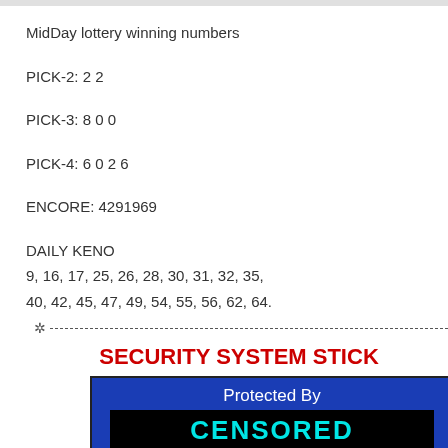MidDay lottery winning numbers
PICK-2: 2 2
PICK-3: 8 0 0
PICK-4: 6 0 2 6
ENCORE: 4291969
DAILY KENO
9, 16, 17, 25, 26, 28, 30, 31, 32, 35,
40, 42, 45, 47, 49, 54, 55, 56, 62, 64.
SECURITY SYSTEM STIC[K]
[Figure (other): Security system sticker showing 'Protected By' text above a black bar with 'CENSORED' in cyan text, on a blue background with a white starburst design at the bottom.]